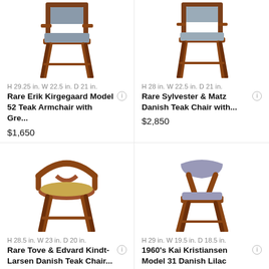[Figure (photo): Teak armchair with grey upholstered seat and back, angled legs, top-left product]
[Figure (photo): Teak armchair with grey upholstered seat and back, top-right product]
H 29.25 in. W 22.5 in. D 21 in.
Rare Erik Kirgegaard Model 52 Teak Armchair with Gre...
$1,650
H 28 in. W 22.5 in. D 21 in.
Rare Sylvester & Matz Danish Teak Chair with...
$2,850
[Figure (photo): Round teak armchair with yellow/tan leather seat, Hans Wegner style, bottom-left product]
[Figure (photo): Danish teak chair with lilac/grey upholstered seat and back, Z-shaped side profile, bottom-right product]
H 28.5 in. W 23 in. D 20 in.
Rare Tove & Edvard Kindt-Larsen Danish Teak Chair...
H 29 in. W 19.5 in. D 18.5 in.
1960's Kai Kristiansen Model 31 Danish Lilac Tweed Chai...